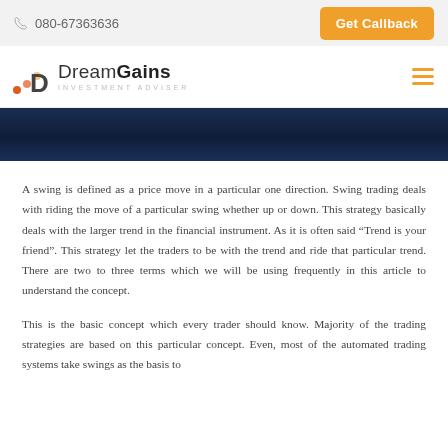080-67363636  |  Get Callback
[Figure (logo): DreamGains Investment Adviser logo with stylized bar chart icon]
[Figure (photo): Dark blue/navy abstract banner image]
A swing is defined as a price move in a particular one direction. Swing trading deals with riding the move of a particular swing whether up or down. This strategy basically deals with the larger trend in the financial instrument. As it is often said “Trend is your friend”. This strategy let the traders to be with the trend and ride that particular trend. There are two to three terms which we will be using frequently in this article to understand the concept.
This is the basic concept which every trader should know. Majority of the trading strategies are based on this particular concept. Even, most of the automated trading systems take swings as the basis to